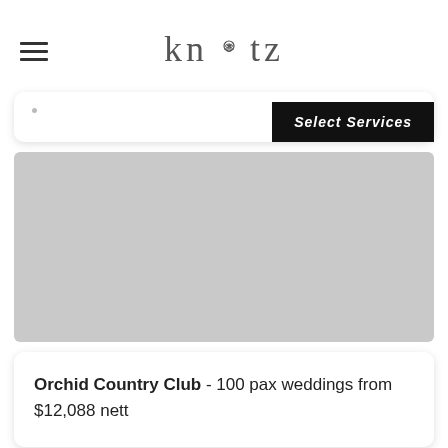knotz
Select Services
[Figure (photo): Gray placeholder image for venue photo of Orchid Country Club]
Orchid Country Club - 100 pax weddings from $12,088 nett